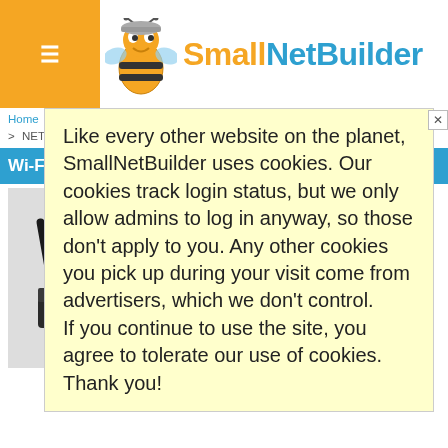[Figure (logo): SmallNetBuilder website logo with bee mascot character and orange/blue text]
Home > Wireless > Wireless News > NETGEAR Suing ASUS For Wireless Hanky Panky
Wi-Rou... n Charts
[Figure (photo): ASUS wireless router with antennas]
Related Articles
ASUS
eel Over
suit
nd...
on suing
s
Like every other website on the planet, SmallNetBuilder uses cookies. Our cookies track login status, but we only allow admins to log in anyway, so those don't apply to you. Any other cookies you pick up during your visit come from advertisers, which we don't control.
If you continue to use the site, you agree to tolerate our use of cookies. Thank you!